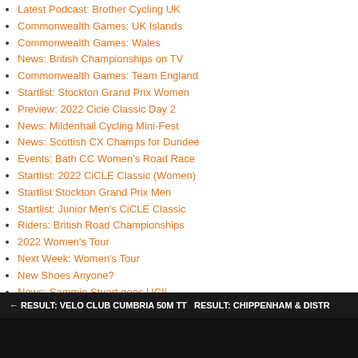Latest Podcast: Brother Cycling UK
Commonwealth Games: UK Islands
Commonwealth Games: Wales
News: British Championships on TV
Commonwealth Games: Team England
Startlist: Stockton Grand Prix Women
Preview: 2022 Cicle Classic Day 2
News: Mildenhall Cycling Mini-Fest
News: Scottish CX Champs for Dundee
Events: Bath CC Women's Road Race
Startlist: 2022 CiCLE Classic (Women)
Startlist Stockton Grand Prix Men
Startlist: Junior Men's CiCLE Classic
Riders: British Road Championships
2022 Women's Tour
Next Week: Women's Tour
New Shoes Anyone?
News: Sammie Stuart goes UCI!
Tags: Result
← RESULT: VELO CLUB CUMBRIA 50M TT RESULT: CHIPPENHAM & DISTR